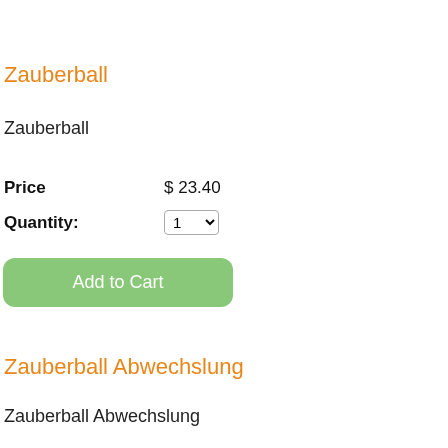Zauberball
Zauberball
Price   $ 23.40
Quantity:   1
Add to Cart
Zauberball Abwechslung
Zauberball Abwechslung